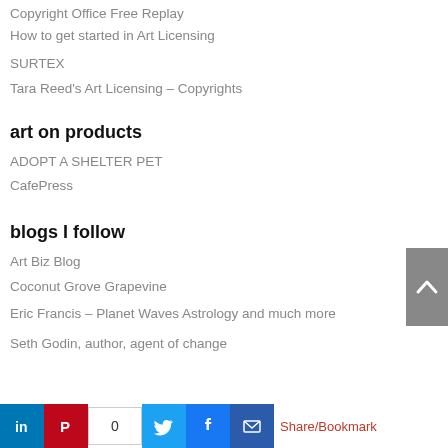Copyright Office Free Replay
How to get started in Art Licensing
SURTEX
Tara Reed's Art Licensing – Copyrights
art on products
ADOPT A SHELTER PET
CafePress
blogs I follow
Art Biz Blog
Coconut Grove Grapevine
Eric Francis – Planet Waves Astrology and much more
Seth Godin, author, agent of change
Share/Bookmark  0